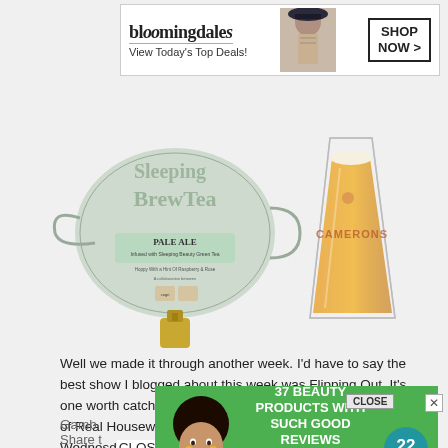[Figure (screenshot): Bloomingdale's advertisement banner: logo, 'View Today's Top Deals!', fashion model photo, 'SHOP NOW >' button]
[Figure (photo): Two beer product images: left is 'Sleeping BrewTea Pale Ale' beer tap handle with teapot shape; right is a Camerons pint glass of amber beer]
Well we made it through another week. I'd have to say the best show I blogged about this week was Flipping Out. It's one worth catching if you missed it. We also had two episodes of Real Housewives of Melbourne this week. On Wednesday saw Gamb
[Figure (screenshot): Green advertisement overlay: '37 BEAUTY PRODUCTS WITH SUCH GOOD REVIEWS YOU MIGHT WANT TO TRY THEM YOURSELF' with woman model and '22 WORDS' badge; CLOSE button]
Share
Gamb